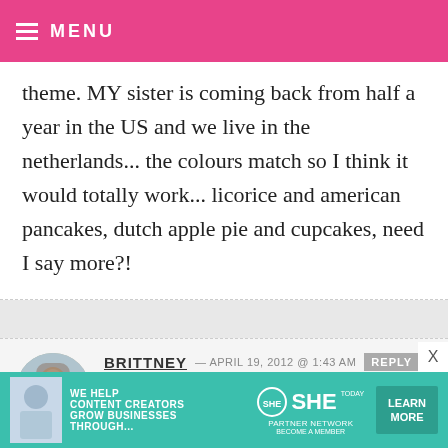MENU
theme. MY sister is coming back from half a year in the US and we live in the netherlands... the colours match so I think it would totally work... licorice and american pancakes, dutch apple pie and cupcakes, need I say more?!
BRITTNEY — APRIL 19, 2012 @ 1:43 AM REPLY
I would pick a cowgirl/western theme :o)
[Figure (photo): Avatar photo of Brittney, a woman near a horse]
WE HELP CONTENT CREATORS GROW BUSINESSES THROUGH... SHE PARTNER NETWORK BECOME A MEMBER LEARN MORE